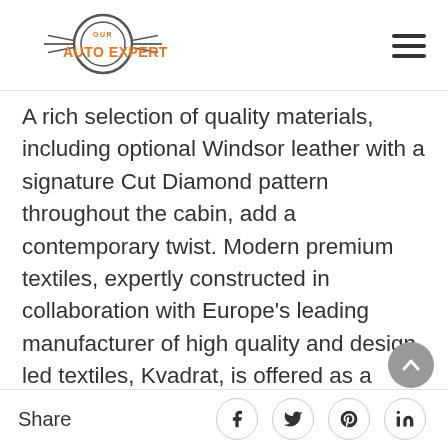[Figure (logo): Our Auto Expert logo with orange text and circular gear/wheel emblem]
A rich selection of quality materials, including optional Windsor leather with a signature Cut Diamond pattern throughout the cabin, add a contemporary twist. Modern premium textiles, expertly constructed in collaboration with Europe's leading manufacturer of high quality and design led textiles, Kvadrat, is offered as a
Share